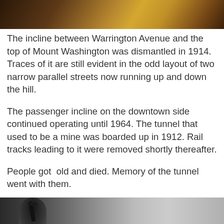[Figure (photo): Top portion of a photo showing a wooden surface or floor with warm brown tones and diagonal lines, partially cropped]
The incline between Warrington Avenue and the top of Mount Washington was dismantled in 1914. Traces of it are still evident in the odd layout of two narrow parallel streets now running up and down the hill.
The passenger incline on the downtown side continued operating until 1964. The tunnel that used to be a mine was boarded up in 1912. Rail tracks leading to it were removed shortly thereafter.
People got  old and died. Memory of the tunnel went with them.
[Figure (photo): Bottom portion of a black and white photo showing a person or figure with equipment, partially cropped at the bottom of the page]